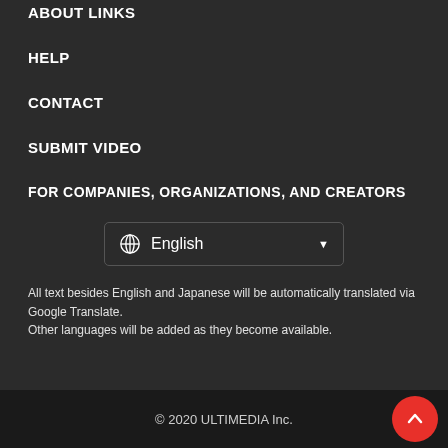ABOUT LINKS
HELP
CONTACT
SUBMIT VIDEO
FOR COMPANIES, ORGANIZATIONS, AND CREATORS
[Figure (other): Language selector dropdown showing a globe icon, 'English' text, and a dropdown arrow, with a rounded rectangle border]
All text besides English and Japanese will be automatically translated via Google Translate.
Other languages will be added as they become available.
© 2020 ULTIMEDIA Inc.